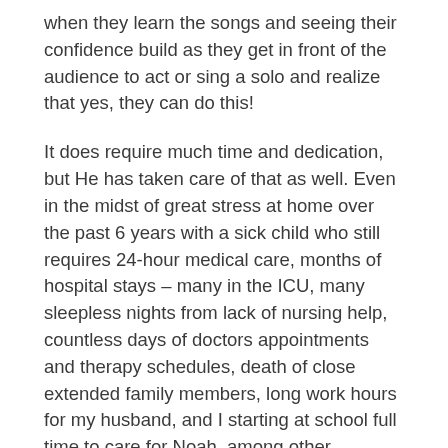when they learn the songs and seeing their confidence build as they get in front of the audience to act or sing a solo and realize that yes, they can do this!
It does require much time and dedication, but He has taken care of that as well. Even in the midst of great stress at home over the past 6 years with a sick child who still requires 24-hour medical care, months of hospital stays – many in the ICU, many sleepless nights from lack of nursing help, countless days of doctors appointments and therapy schedules, death of close extended family members, long work hours for my husband, and I starting at school full time to care for Noah, among other responsibilities, He has allowed bits of time to open up for me to work on the programs. To my delight, He has blessed each and every one.